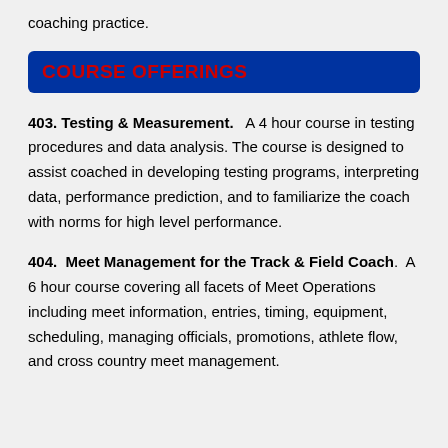coaching practice.
COURSE OFFERINGS
403. Testing & Measurement.   A 4 hour course in testing procedures and data analysis. The course is designed to assist coached in developing testing programs, interpreting data, performance prediction, and to familiarize the coach with norms for high level performance.
404.  Meet Management for the Track & Field Coach.  A 6 hour course covering all facets of Meet Operations including meet information, entries, timing, equipment, scheduling, managing officials, promotions, athlete flow, and cross country meet management.